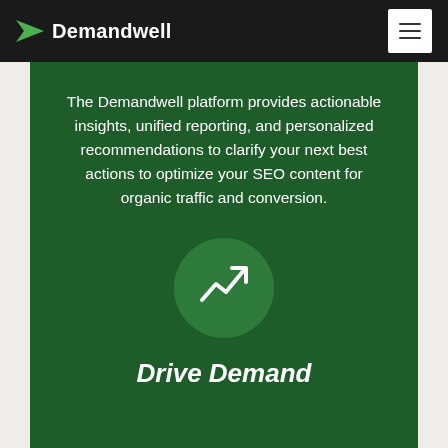Demandwell
The Demandwell platform provides actionable insights, unified reporting, and personalized recommendations to clarify your next best actions to optimize your SEO content for organic traffic and conversion.
[Figure (illustration): White trending upward arrow icon inside a darker green circle, on a dark green background]
Drive Demand